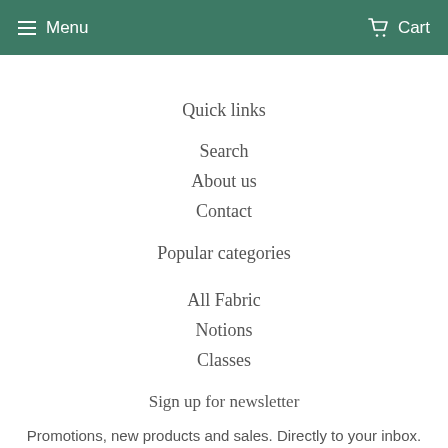Menu  Cart
Quick links
Search
About us
Contact
Popular categories
All Fabric
Notions
Classes
Sign up for newsletter
Promotions, new products and sales. Directly to your inbox.